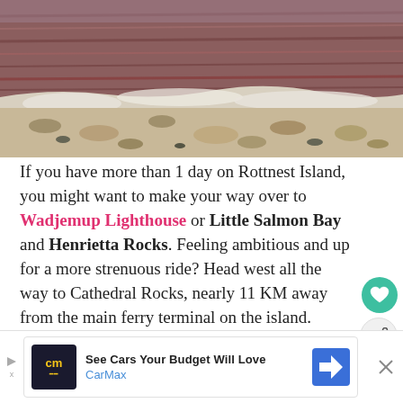[Figure (photo): Coastal scene showing red-brown water meeting a sandy/rocky shoreline with white foam/surf]
If you have more than 1 day on Rottnest Island, you might want to make your way over to Wadjemup Lighthouse or Little Salmon Bay and Henrietta Rocks. Feeling ambitious and up for a more strenuous ride? Head west all the way to Cathedral Rocks, nearly 11 KM away from the main ferry terminal on the island.
[Figure (screenshot): CarMax advertisement banner: 'See Cars Your Budget Will Love' with CarMax logo and navigation arrow icon]